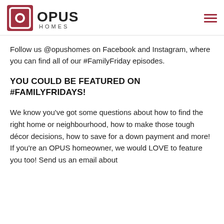OPUS HOMES
Follow us @opushomes on Facebook and Instagram, where you can find all of our #FamilyFriday episodes.
YOU COULD BE FEATURED ON #FAMILYFRIDAYS!
We know you've got some questions about how to find the right home or neighbourhood, how to make those tough décor decisions, how to save for a down payment and more! If you're an OPUS homeowner, we would LOVE to feature you too! Send us an email about